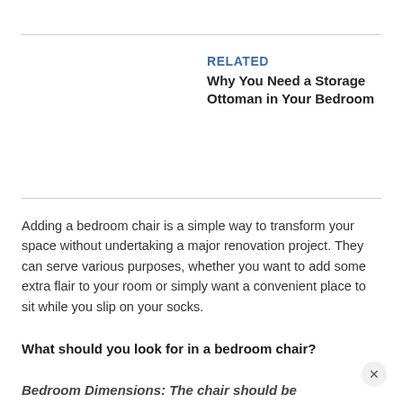RELATED
Why You Need a Storage Ottoman in Your Bedroom
Adding a bedroom chair is a simple way to transform your space without undertaking a major renovation project. They can serve various purposes, whether you want to add some extra flair to your room or simply want a convenient place to sit while you slip on your socks.
What should you look for in a bedroom chair?
Bedroom Dimensions: The chair should be